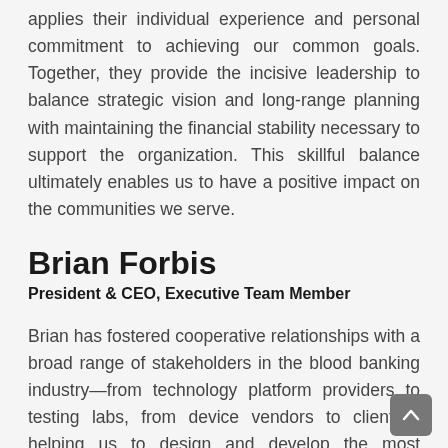applies their individual experience and personal commitment to achieving our common goals. Together, they provide the incisive leadership to balance strategic vision and long-range planning with maintaining the financial stability necessary to support the organization. This skillful balance ultimately enables us to have a positive impact on the communities we serve.
Brian Forbis
President & CEO, Executive Team Member
Brian has fostered cooperative relationships with a broad range of stakeholders in the blood banking industry—from technology platform providers to testing labs, from device vendors to clients—helping us to design and develop the most effective solutions possible. Brian originally joined BBCS in 2004, returning in 2007 to assume a business development role, driving public